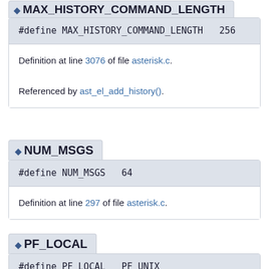MAX_HISTORY_COMMAND_LENGTH
#define MAX_HISTORY_COMMAND_LENGTH   256
Definition at line 3076 of file asterisk.c.
Referenced by ast_el_add_history().
NUM_MSGS
#define NUM_MSGS   64
Definition at line 297 of file asterisk.c.
PF_LOCAL
#define PF_LOCAL   PF_UNIX